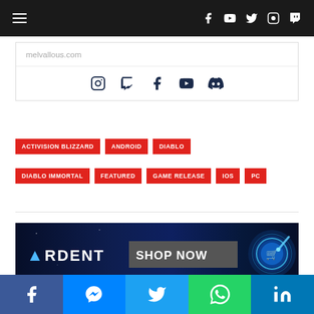Navigation bar with hamburger menu and social icons (Facebook, YouTube, Twitter, Instagram, Twitch)
melvallous.com
[Figure (other): Social icons: Instagram, Twitch, Facebook, YouTube, Discord]
ACTIVISION BLIZZARD
ANDROID
DIABLO
DIABLO IMMORTAL
FEATURED
GAME RELEASE
IOS
PC
[Figure (other): ARDENT SHOP NOW advertisement banner with glowing blue button]
Social share bar: Facebook, Messenger, Twitter, WhatsApp, LinkedIn